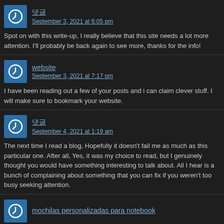댓글 - September 3, 2021 at 6:05 pm
Spot on with this write-up, I really believe that this site needs a lot more attention. I'll probably be back again to see more, thanks for the info!
website - September 3, 2021 at 7:17 pm
I have been reading out a few of your posts and i can claim clever stuff. I will make sure to bookmark your website.
댓글 - September 4, 2021 at 1:19 am
The next time I read a blog, Hopefully it doesn't fail me as much as this particular one. After all, Yes, it was my choice to read, but I genuinely thought you would have something interesting to talk about. All I hear is a bunch of complaining about something that you can fix if you weren't too busy seeking attention.
mochilas personalizadas para notebook